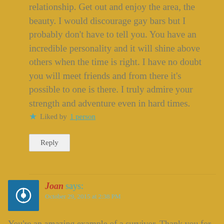relationship. Get out and enjoy the area, the beauty. I would discourage gay bars but I probably don't have to tell you. You have an incredible personality and it will shine above others when the time is right. I have no doubt you will meet friends and from there it's possible to one is there. I truly admire your strength and adventure even in hard times.
Liked by 1 person
Reply
Joan says: October 29, 2015 at 2:38 PM
You're an amazing example of a survivor. Thank you for sharing your story!
Liked by 1 person